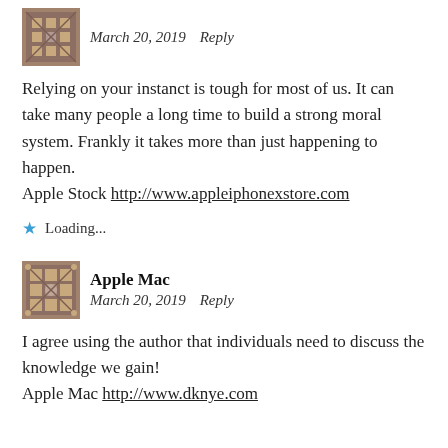March 20, 2019   Reply
Relying on your instanct is tough for most of us. It can take many people a long time to build a strong moral system. Frankly it takes more than just happening to happen.
Apple Stock http://www.appleiphonexstore.com
★ Loading...
Apple Mac
March 20, 2019   Reply
I agree using the author that individuals need to discuss the knowledge we gain!
Apple Mac http://www.dknye.com